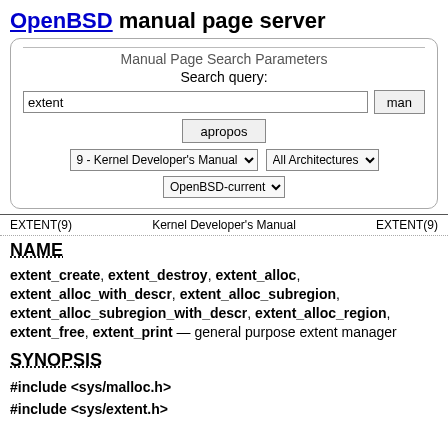OpenBSD manual page server
[Figure (other): Manual Page Search Parameters form with search query field containing 'extent', man button, apropos button, dropdowns for '9 - Kernel Developer's Manual', 'All Architectures', and 'OpenBSD-current']
EXTENT(9)    Kernel Developer's Manual    EXTENT(9)
NAME
extent_create, extent_destroy, extent_alloc, extent_alloc_with_descr, extent_alloc_subregion, extent_alloc_subregion_with_descr, extent_alloc_region, extent_free, extent_print — general purpose extent manager
SYNOPSIS
#include <sys/malloc.h>
#include <sys/extent.h>